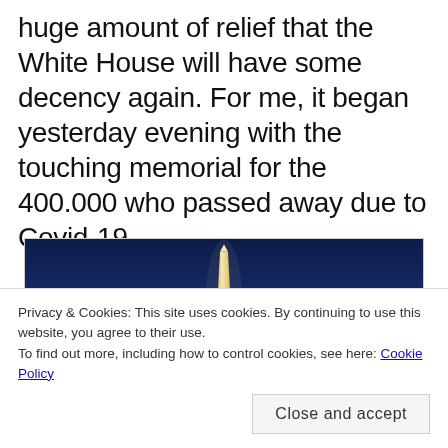huge amount of relief that the White House will have some decency again. For me, it began yesterday evening with the touching memorial for the 400.000 who passed away due to Covid-19…
[Figure (photo): Nighttime photograph of the Washington Monument reflected in the Lincoln Memorial Reflecting Pool, with rows of memorial candles or lights lining the sides of the pool, blue twilight sky in the background.]
Privacy & Cookies: This site uses cookies. By continuing to use this website, you agree to their use. To find out more, including how to control cookies, see here: Cookie Policy
I watch the inauguration ceremony and I feel I can